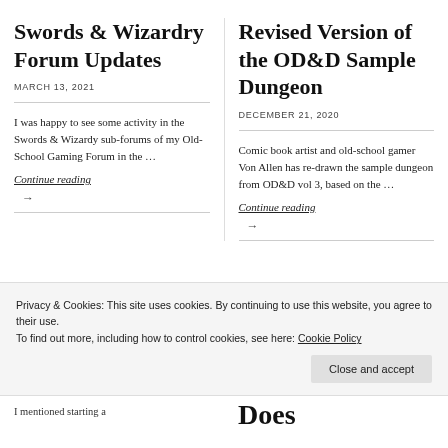Swords & Wizardry Forum Updates
MARCH 13, 2021
I was happy to see some activity in the Swords & Wizardy sub-forums of my Old-School Gaming Forum in the …
Continue reading
→
Revised Version of the OD&D Sample Dungeon
DECEMBER 21, 2020
Comic book artist and old-school gamer Von Allen has re-drawn the sample dungeon from OD&D vol 3, based on the …
Continue reading
→
Privacy & Cookies: This site uses cookies. By continuing to use this website, you agree to their use.
To find out more, including how to control cookies, see here: Cookie Policy
Close and accept
I mentioned starting a
Does